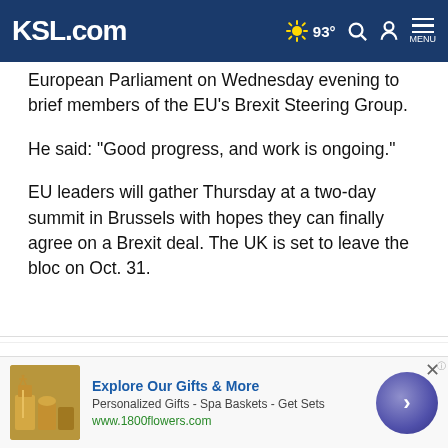KSL.com | 93° | Search | Account | Menu
European Parliament on Wednesday evening to brief members of the EU's Brexit Steering Group.
He said: "Good progress, and work is ongoing."
EU leaders will gather Thursday at a two-day summit in Brussels with hopes they can finally agree on a Brexit deal. The UK is set to leave the bloc on Oct. 31.
Cookie Notice
We use cookies to improve your experience, analyze site traffic, and to personalize content and ads. By continuing to use our site, you consent to our use of cookies. Please visit our Terms of Use and Privacy Policy for more information.
[Figure (infographic): Advertisement banner for 1800flowers.com: image of spa/gift basket products, headline 'Explore Our Gifts & More', subtext 'Personalized Gifts - Spa Baskets - Get Sets', URL 'www.1800flowers.com', with a purple circle arrow button on the right.]